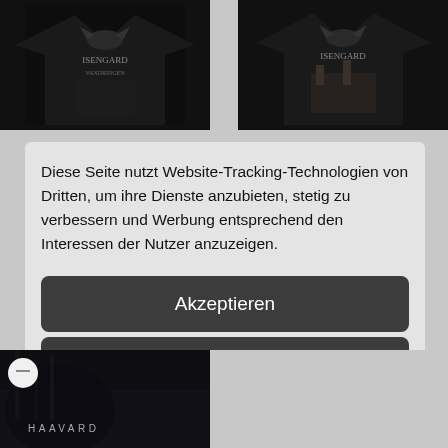[Figure (screenshot): Two black metal band t-shirts (Isengard) shown at top of e-commerce page]
Diese Seite nutzt Website-Tracking-Technologien von Dritten, um ihre Dienste anzubieten, stetig zu verbessern und Werbung entsprechend den Interessen der Nutzer anzuzeigen.
Akzeptieren
Ablehnen
mehr
Powered by usercentrics & eRecht24
[Figure (screenshot): Bottom of e-commerce page showing Haavard album/product image]